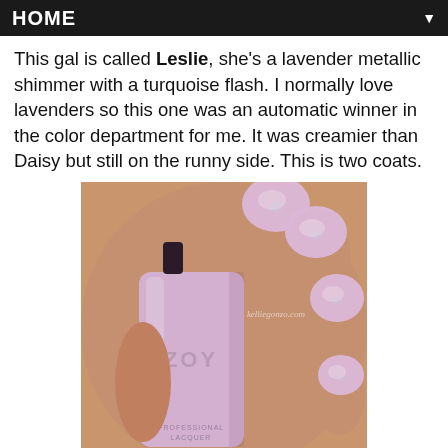HOME
This gal is called Leslie, she's a lavender metallic shimmer with a turquoise flash. I normally love lavenders so this one was an automatic winner in the color department for me. It was creamier than Daisy but still on the runny side. This is two coats.
[Figure (photo): Close-up photo of a hand holding a Zoya Professional Lacquer nail polish bottle in a lavender/light purple shimmer shade called Leslie, with painted nails showing the same lavender metallic shimmer color. The bottle shows the ZOYA brand name and PROFESSIONAL LACQUER text.]